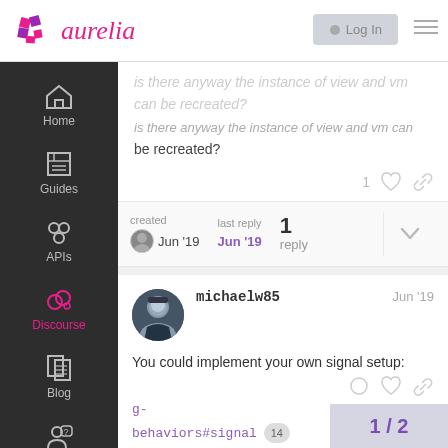aurelia
is there anyway the instance of view and vm can be recreated?
created Jun '19   last reply Jun '19   1 reply
michaelw85   Jun '19
You could implement your own signal setup: https://aurelia.io/docs/binding/binding-behaviors#signal 14
1 / 2